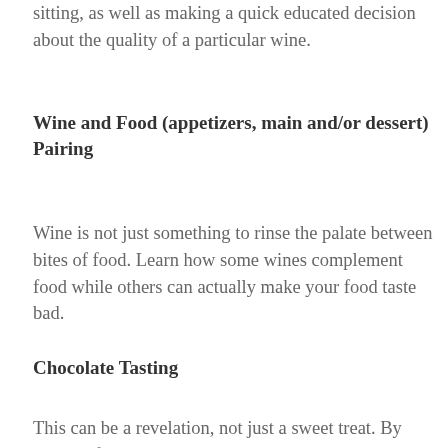sitting, as well as making a quick educated decision about the quality of a particular wine.
Wine and Food (appetizers, main and/or dessert) Pairing
Wine is not just something to rinse the palate between bites of food. Learn how some wines complement food while others can actually make your food taste bad.
Chocolate Tasting
This can be a revelation, not just a sweet treat. By moving from dark to light chocolate, some with dried fruit and nuts, you will be surprised at how quickly your palate can be educated on chocolate as it is by wine. (Wine can be